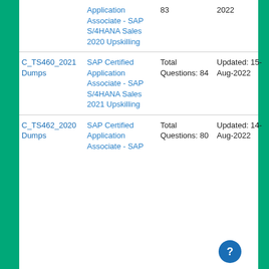| Exam | Description | Questions | Updated | Action |
| --- | --- | --- | --- | --- |
|  | Application Associate - SAP S/4HANA Sales 2020 Upskilling | 83 | 2022 |  |
| C_TS460_2021 Dumps | SAP Certified Application Associate - SAP S/4HANA Sales 2021 Upskilling | Total Questions: 84 | Updated: 15-Aug-2022 | Buy Now |
| C_TS462_2020 Dumps | SAP Certified Application Associate - SAP S/4HANA... | Total Questions: 80 | Updated: 14-Aug-2022 | Buy Now |